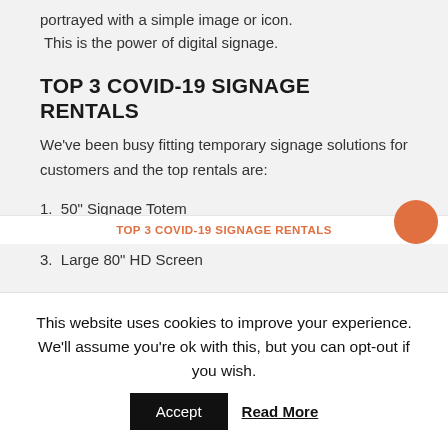portrayed with a simple image or icon. This is the power of digital signage.
TOP 3 COVID-19 SIGNAGE RENTALS
We've been busy fitting temporary signage solutions for customers and the top rentals are:
1. 50" Signage Totem
2. 43" HD Screen
3. Large 80" HD Screen
TOP 3 COVID-19 SIGNAGE RENTALS
This website uses cookies to improve your experience. We'll assume you're ok with this, but you can opt-out if you wish.  Accept  Read More